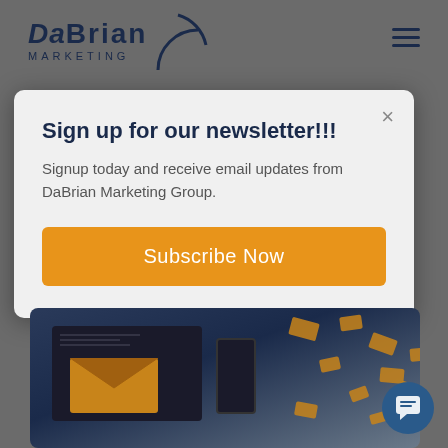[Figure (screenshot): DaBrian Marketing Group website screenshot with newsletter signup modal overlay. Background shows a dark marketing image with email envelopes. A modal dialog with white/light gray background contains newsletter signup content. Top left has DaBrian Marketing logo with arc circle graphic. Top right has hamburger menu icon. Bottom right has a chat button.]
Sign up for our newsletter!!!
Signup today and receive email updates from DaBrian Marketing Group.
Subscribe Now